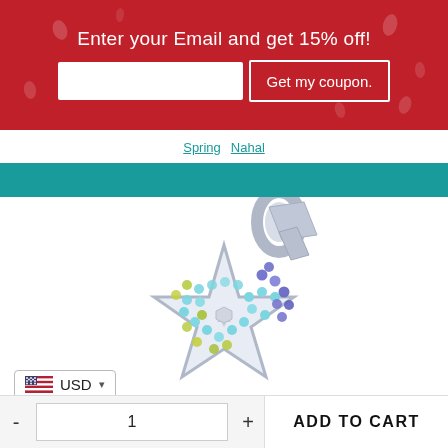Enter your Email and get 15% off!
Get my coupon.
Spring  Nahal
[Figure (photo): Silver star-shaped pendant encrusted with multicolored crystals (blue, light blue, yellow/green) with a Star of David cutout in the center, shown with a silver bail/loop at top]
USD
- 1 + ADD TO CART